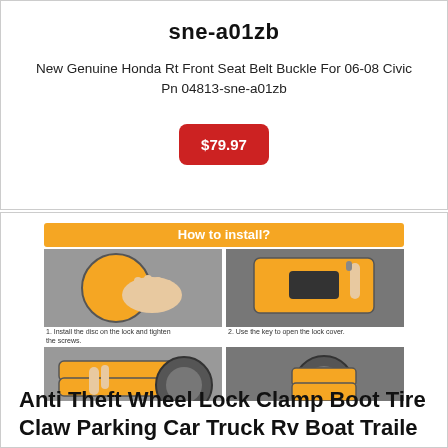sne-a01zb
New Genuine Honda Rt Front Seat Belt Buckle For 06-08 Civic Pn 04813-sne-a01zb
$79.97
[Figure (infographic): How to install? - 6-step photo guide showing installation of a yellow wheel lock clamp boot on a tire]
Anti Theft Wheel Lock Clamp Boot Tire Claw Parking Car Truck Rv Boat Trailer